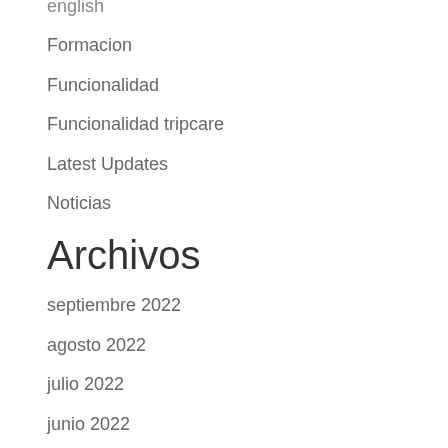english
Formacion
Funcionalidad
Funcionalidad tripcare
Latest Updates
Noticias
Archivos
septiembre 2022
agosto 2022
julio 2022
junio 2022
mayo 2022
abril 2022